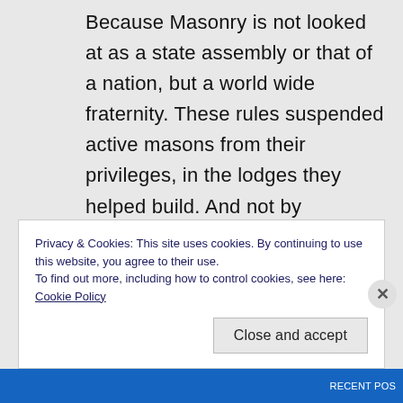Because Masonry is not looked at as a state assembly or that of a nation, but a world wide fraternity. These rules suspended active masons from their privileges, in the lodges they helped build. And not by “unmasonic conduct” but for posting pictures of their wedding. Shameful. A true black eye on the fraternity and I am proud of CA for taking a swing back.
Privacy & Cookies: This site uses cookies. By continuing to use this website, you agree to their use.
To find out more, including how to control cookies, see here: Cookie Policy